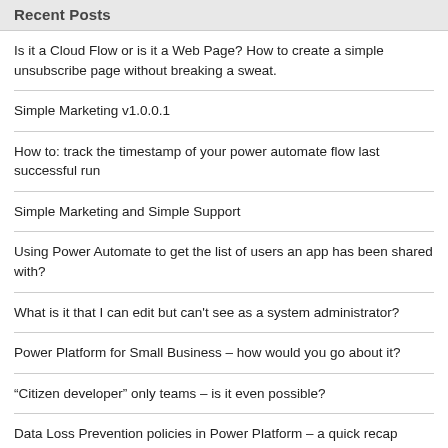Recent Posts
Is it a Cloud Flow or is it a Web Page? How to create a simple unsubscribe page without breaking a sweat.
Simple Marketing v1.0.0.1
How to: track the timestamp of your power automate flow last successful run
Simple Marketing and Simple Support
Using Power Automate to get the list of users an app has been shared with?
What is it that I can edit but can't see as a system administrator?
Power Platform for Small Business – how would you go about it?
“Citizen developer” only teams – is it even possible?
Data Loss Prevention policies in Power Platform – a quick recap
How to: debug plugins in the shared environments
Power Platform /Dataverse development vs Classic Development –